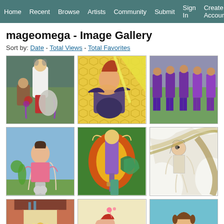Home | Recent | Browse | Artists | Community | Submit | Sign In | Create Account
mageomega - Image Gallery
Sort by: Date - Total Views - Total Favorites
[Figure (illustration): Anime-style fox girl character with white jacket and red pants, purple magic effects, outdoor scene]
[Figure (illustration): Anime-style girl with bee/wasp body, red hair, honeycomb yellow background with lightning bolt]
[Figure (illustration): Multiple purple-costumed anime cat girl characters in a row]
[Figure (illustration): Cartoon girl in pink top and grey shorts jogging, blue sky background]
[Figure (illustration): Fantasy character with dragon wings and staff, glowing orange/red aura on green background]
[Figure (illustration): Pencil sketch of a character with headphones sitting in a tree]
[Figure (illustration): Cartoon elf girl with blonde hair indoors, brown door background]
[Figure (illustration): Anime character with red hair and striped stockings, yellow/cream background]
[Figure (illustration): Anime cat girl with brown hair, teal/blue sky background]